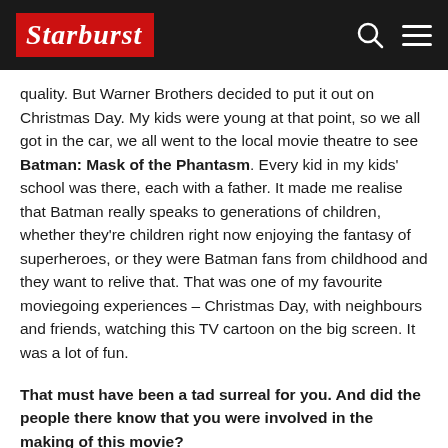STARBURST
quality. But Warner Brothers decided to put it out on Christmas Day. My kids were young at that point, so we all got in the car, we all went to the local movie theatre to see Batman: Mask of the Phantasm. Every kid in my kids' school was there, each with a father. It made me realise that Batman really speaks to generations of children, whether they're children right now enjoying the fantasy of superheroes, or they were Batman fans from childhood and they want to relive that. That was one of my favourite moviegoing experiences – Christmas Day, with neighbours and friends, watching this TV cartoon on the big screen. It was a lot of fun.
That must have been a tad surreal for you. And did the people there know that you were involved in the making of this movie?